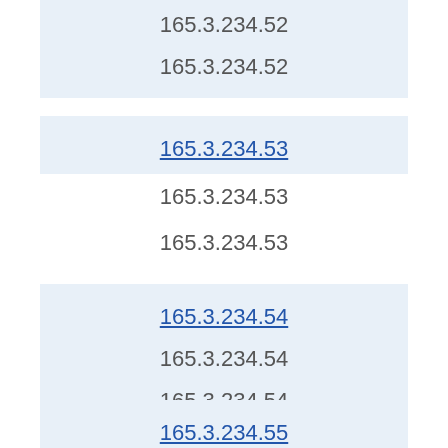165.3.234.52
165.3.234.52
165.3.234.53
165.3.234.53
165.3.234.53
165.3.234.54
165.3.234.54
165.3.234.54
165.3.234.55